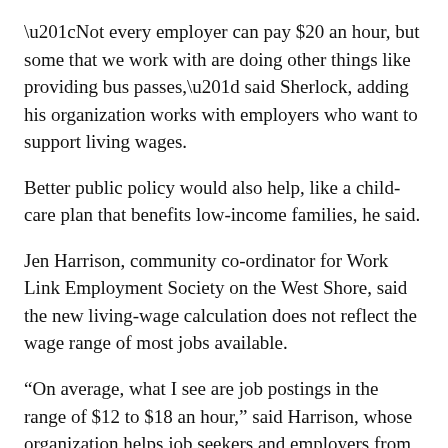“Not every employer can pay $20 an hour, but some that we work with are doing other things like providing bus passes,” said Sherlock, adding his organization works with employers who want to support living wages.
Better public policy would also help, like a child-care plan that benefits low-income families, he said.
Jen Harrison, community co-ordinator for Work Link Employment Society on the West Shore, said the new living-wage calculation does not reflect the wage range of most jobs available.
“On average, what I see are job postings in the range of $12 to $18 an hour,” said Harrison, whose organization helps job seekers and employers from Langford to Port Renfrew.
“A lot of those are entry-level, but many also require a range of skills,”